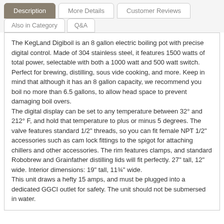Description | More Details | Customer Reviews | Also in Category | Q&A
The KegLand Digiboil is an 8 gallon electric boiling pot with precise digital control. Made of 304 stainless steel, it features 1500 watts of total power, selectable with both a 1000 watt and 500 watt switch. Perfect for brewing, distilling, sous vide cooking, and more. Keep in mind that although it has an 8 gallon capacity, we recommend you boil no more than 6.5 gallons, to allow head space to prevent damaging boil overs.
The digital display can be set to any temperature between 32° and 212° F, and hold that temperature to plus or minus 5 degrees. The valve features standard 1/2" threads, so you can fit female NPT 1/2" accessories such as cam lock fittings to the spigot for attaching chillers and other accessories. The rim features clamps, and standard Robobrew and Grainfather distilling lids will fit perfectly. 27" tall, 12" wide. Interior dimensions: 19" tall, 11¾" wide.
This unit draws a hefty 15 amps, and must be plugged into a dedicated GGCI outlet for safety. The unit should not be submersed in water.